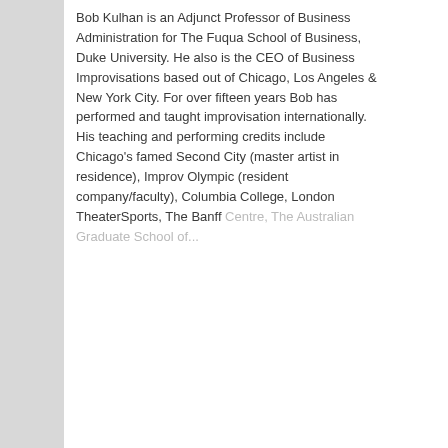Bob Kulhan is an Adjunct Professor of Business Administration for The Fuqua School of Business, Duke University. He also is the CEO of Business Improvisations based out of Chicago, Los Angeles & New York City. For over fifteen years Bob has performed and taught improvisation internationally. His teaching and performing credits include Chicago's famed Second City (master artist in residence), Improv Olympic (resident company/faculty), Columbia College, London TheaterSports, The Banff Centre, The Australian Graduate School of...
Read More +
Video
NEW! The 2022 Speaking Industry Benchmark Report
Books
FAQ